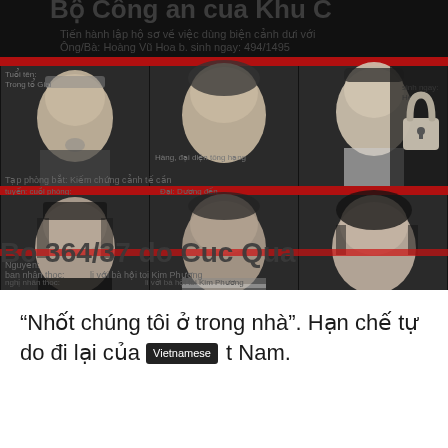[Figure (photo): Collage of five black-and-white portrait photos of Vietnamese human rights activists arranged in a 3+2 grid, overlaid on a dark background with Vietnamese police/government document text and red horizontal stripes. A large padlock image appears on the right side. Document text includes 'Bộ Công an cua Khu C', 'Bo 364/37 do Cuc Qua', and other Vietnamese bureaucratic text.]
"Nhốt chúng tôi ở trong nhà". Hạn chế tự do đi lại của các nhà hoạt động nhân quyền ở Việt Nam.